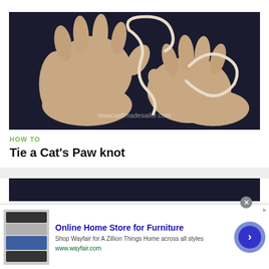[Figure (photo): Two hands holding and manipulating a white/cream-colored rope against a dark background, demonstrating a knot-tying technique. Watermark reads www.selfmadesailor.com]
HOW TO
Tie a Cat's Paw knot
[Figure (photo): Partial view of a second instructional photo with dark background]
[Figure (other): Advertisement banner: Online Home Store for Furniture - Shop Wayfair for A Zillion Things Home across all styles. www.wayfair.com]